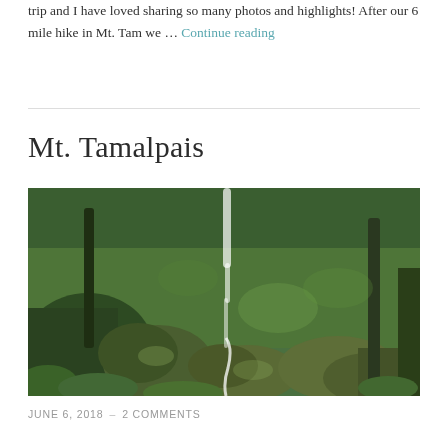trip and I have loved sharing so many photos and highlights! After our 6 mile hike in Mt. Tam we … Continue reading
Mt. Tamalpais
[Figure (photo): A lush green forest scene with moss-covered boulders and a waterfall or stream cascading down through ferns and trees at Mt. Tamalpais]
JUNE 6, 2018  –  2 COMMENTS